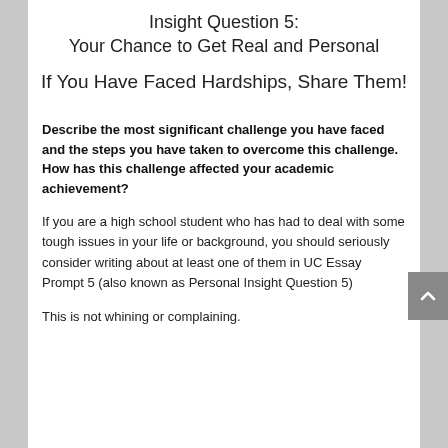Insight Question 5:
Your Chance to Get Real and Personal
If You Have Faced Hardships, Share Them!
Describe the most significant challenge you have faced and the steps you have taken to overcome this challenge. How has this challenge affected your academic achievement?
If you are a high school student who has had to deal with some tough issues in your life or background, you should seriously consider writing about at least one of them in UC Essay Prompt 5 (also known as Personal Insight Question 5)
This is not whining or complaining.